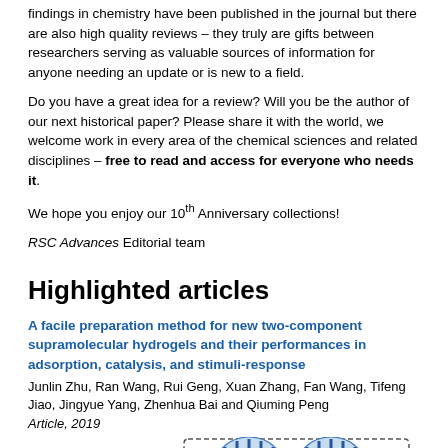findings in chemistry have been published in the journal but there are also high quality reviews – they truly are gifts between researchers serving as valuable sources of information for anyone needing an update or is new to a field.
Do you have a great idea for a review? Will you be the author of our next historical paper? Please share it with the world, we welcome work in every area of the chemical sciences and related disciplines – free to read and access for everyone who needs it.
We hope you enjoy our 10th Anniversary collections!
RSC Advances Editorial team
Highlighted articles
A facile preparation method for new two-component supramolecular hydrogels and their performances in adsorption, catalysis, and stimuli-response
Junlin Zhu, Ran Wang, Rui Geng, Xuan Zhang, Fan Wang, Tifeng Jiao, Jingyue Yang, Zhenhua Bai and Qiuming Peng
Article, 2019
[Figure (illustration): Scientific illustration showing T-G hydrogel adsorption process with dye molecules (RhB and MO), pH response, and chemical treatment with CH3COOH and NH3·H2O, depicted with blue lattice structures and reaction arrows]